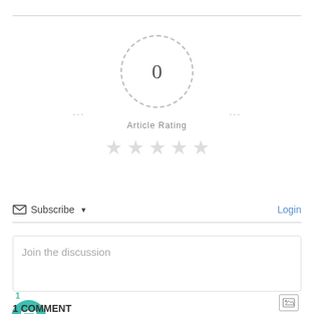[Figure (infographic): Article rating widget showing a dashed circle with '0' in the center, flanked by dashed lines, 'Article Rating' label below, and five empty gray stars.]
Subscribe ▼
Login
Join the discussion
1
[Figure (infographic): Teal circle with a chat/comment bubble icon inside, with '1' badge above it.]
1 COMMENT